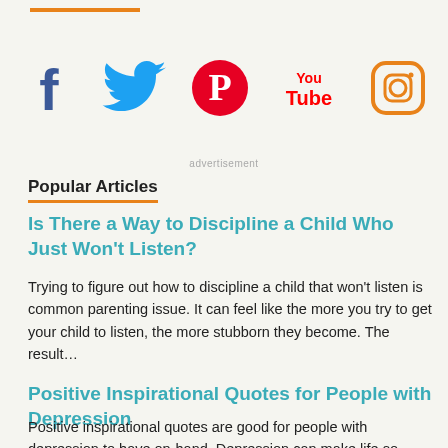[Figure (other): Social media icons row: Facebook, Twitter, Pinterest, YouTube, Instagram]
advertisement
Popular Articles
Is There a Way to Discipline a Child Who Just Won't Listen?
Trying to figure out how to discipline a child that won't listen is common parenting issue. It can feel like the more you try to get your child to listen, the more stubborn they become. The result…
Positive Inspirational Quotes for People with Depression
Positive inspirational quotes are good for people with depression to have on-hand. Depression can make life so